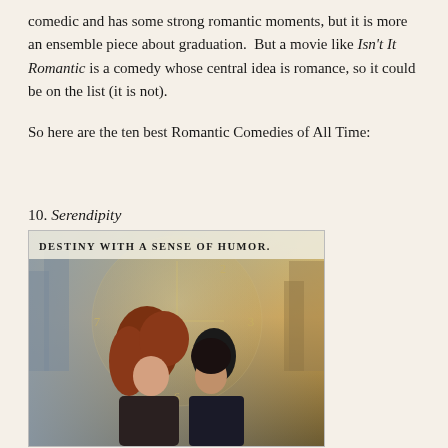comedic and has some strong romantic moments, but it is more an ensemble piece about graduation.  But a movie like Isn't It Romantic is a comedy whose central idea is romance, so it could be on the list (it is not).
So here are the ten best Romantic Comedies of All Time:
10. Serendipity
[Figure (photo): Movie poster for Serendipity showing a couple about to kiss in front of a clock face with city buildings in the background. Text reads: DESTINY WITH A SENSE OF HUMOR.]